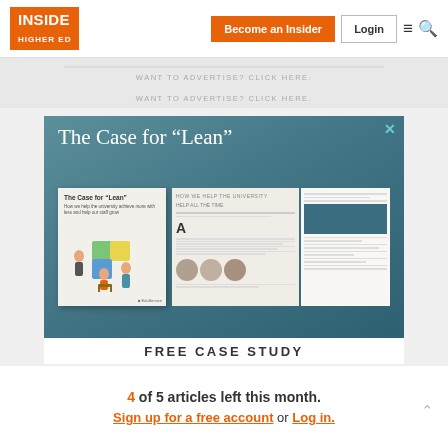INSIDE HIGHER ED | Become an Insider | Login
WANT TO ADVERTISE? CLICK HERE.
WANT TO ADVERTISE? CLICK HERE.
[Figure (screenshot): Advertisement banner for 'The Case for Lean' free case study, showing a book cover and open magazine pages on a teal background, with a FREE CASE STUDY label at the bottom.]
4 of 5 articles left this month.
Sign up for a free account or Log in.